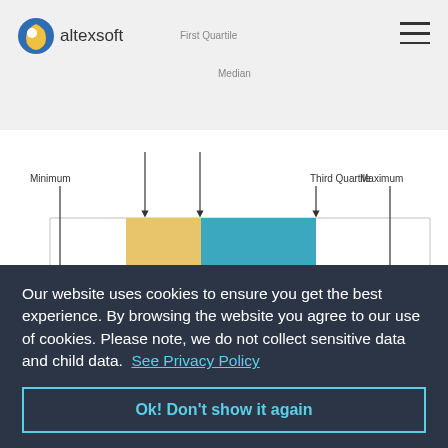altexsoft
[Figure (other): Box plot diagram showing Minimum, First Quartile, Median, Third Quartile, Maximum labels with arrows pointing to parts of a box-and-whisker plot. A gold/yellow bar represents Q1 range, a teal/blue bar represents Q2-Q3 range, horizontal whisker lines extend to Minimum and Maximum. Outliers shown as asterisks on the right. A 2017 label appears on the left axis.]
Our website uses cookies to ensure you get the best experience. By browsing the website you agree to our use of cookies. Please note, we do not collect sensitive data and child data.  See Privacy Policy
Ok! Don't show it again